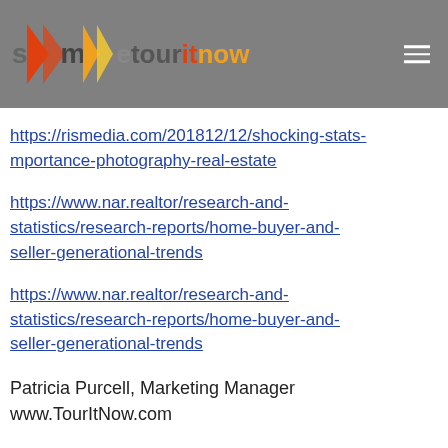[Figure (logo): TourItNow website header with logo on grey background and hamburger menu icon]
https://rismedia.com/201812/12/shocking-stats-mportance-photography-real-estate
https://www.nar.realtor/research-and-statistics/research-reports/home-buyer-and-seller-generational-trends
https://www.nar.realtor/research-and-statistics/research-reports/home-buyer-and-seller-generational-trends
Patricia Purcell, Marketing Manager
www.TourItNow.com
Tour It Now is a marketing services company